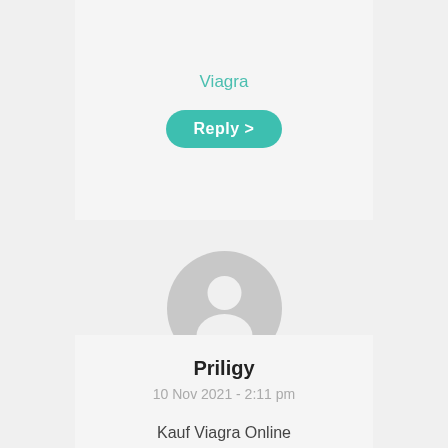Viagra
Reply >
[Figure (illustration): Generic user avatar icon — grey circle with white silhouette of a person (head and shoulders)]
Priligy
10 Nov 2021 - 2:11 pm
Kauf Viagra Online
Reply >